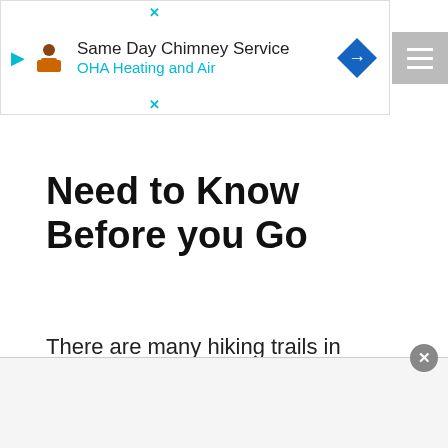[Figure (screenshot): Advertisement banner: Same Day Chimney Service, OHA Heating and Air, with a blue diamond arrow icon and a person icon. Has X close markers and a play triangle in cyan.]
Need to Know Before you Go
There are many hiking trails in Meteora so make sure you bring some good shoes. It’s worthwhile to take half a day or a full day to discover Meteora on foot. Hiking routes are
[Figure (screenshot): Bottom overlay advertisement bar with a gray/white background and an X close button (circle with X).]